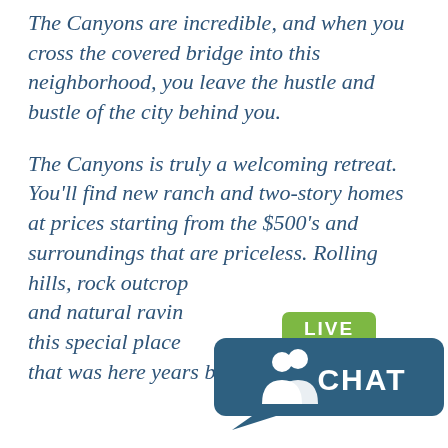The Canyons are incredible, and when you cross the covered bridge into this neighborhood, you leave the hustle and bustle of the city behind you.
The Canyons is truly a welcoming retreat. You'll find new ranch and two-story homes at prices starting from the $500's and surroundings that are priceless. Rolling hills, rock outcroppings and natural ravines make this special place a treasure that was here years before
[Figure (infographic): Live Chat button widget: a teal/blue rounded rectangle containing a people icon and the word CHAT in white bold text, with a green rounded badge above it reading LIVE, and a speech bubble tail at the bottom left.]